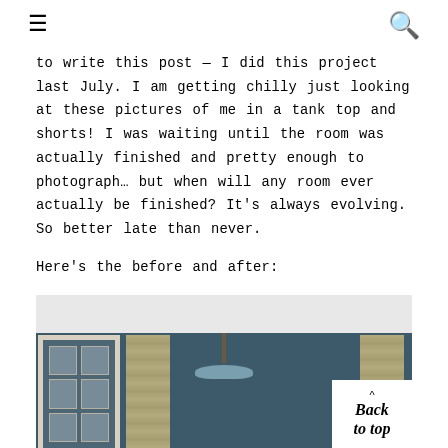≡  🔍
to write this post — I did this project last July. I am getting chilly just looking at these pictures of me in a tank top and shorts! I was waiting until the room was actually finished and pretty enough to photograph… but when will any room ever actually be finished? It's always evolving. So better late than never.
Here's the before and after:
[Figure (photo): Interior room photo showing dark navy/teal painted walls, white French doors on the left, patterned curtains flanking a window in the center-background, and a chandelier hanging from the ceiling. A 'Back to top' button overlay is in the lower right corner.]